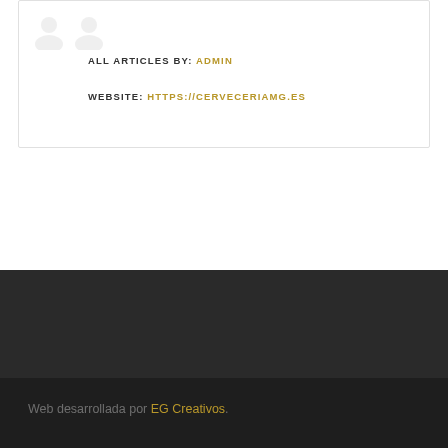[Figure (illustration): Two overlapping grey avatar/user silhouette icons]
ALL ARTICLES BY: ADMIN
WEBSITE: HTTPS://CERVECERIAMG.ES
Web desarrollada por EG Creativos.